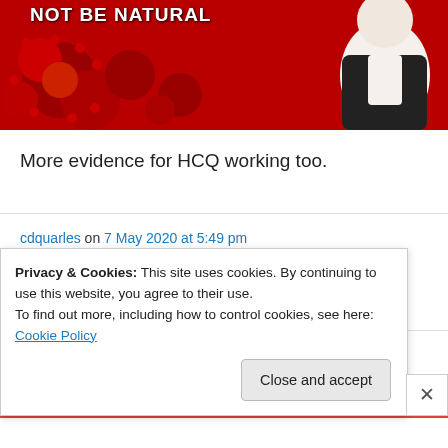[Figure (photo): A partially visible thumbnail image with red background showing coronavirus-like shapes, text 'NOT BE NATURAL' in white bold letters, and a person in a dark jacket on the right side.]
More evidence for HCQ working too.
cdquarles on 7 May 2020 at 5:49 pm
That's a good one, ossqss.
richardvernon on 7 May 2020 at 6:51 pm
Privacy & Cookies: This site uses cookies. By continuing to use this website, you agree to their use.
To find out more, including how to control cookies, see here: Cookie Policy